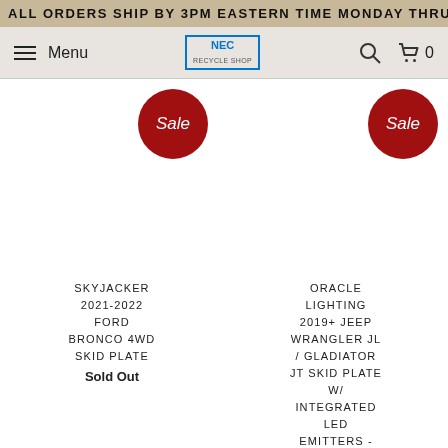ALL ORDERS SHIP BY 3PM EASTERN TIME MONDAY THRU
[Figure (screenshot): Navigation bar with hamburger menu, Menu text, NEC Recycle Shop logo, search icon, and cart icon showing 0 items]
[Figure (other): Sale badge (red circle) for Skyjacker product]
[Figure (other): Sale badge (red circle) for Oracle Lighting product]
SKYJACKER 2021-2022 FORD BRONCO 4WD SKID PLATE
Sold Out
ORACLE LIGHTING 2019+ JEEP WRANGLER JL / GLADIATOR JT SKID PLATE W/ INTEGRATED LED EMITTERS - YELLOW
Sold Out